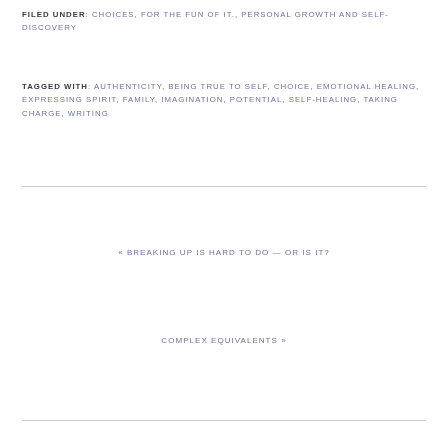FILED UNDER: CHOICES, FOR THE FUN OF IT., PERSONAL GROWTH AND SELF-DISCOVERY
TAGGED WITH: AUTHENTICITY, BEING TRUE TO SELF, CHOICE, EMOTIONAL HEALING, EXPRESSING SPIRIT, FAMILY, IMAGINATION, POTENTIAL, SELF-HEALING, TAKING CHARGE, WRITING
« BREAKING UP IS HARD TO DO — OR IS IT?
COMPLEX EQUIVALENTS »